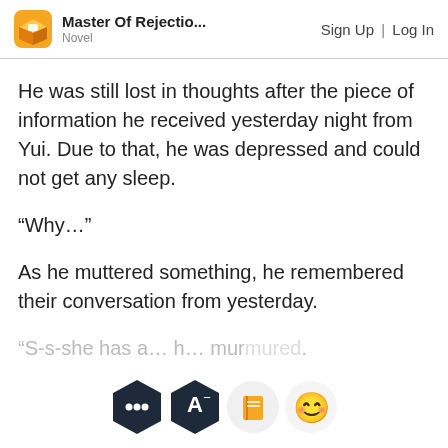Master Of Rejectio... Novel | Sign Up | Log In
He was still lost in thoughts after the piece of information he received yesterday night from Yui. Due to that, he was depressed and could not get any sleep.
“Why…”
As he muttered something, he remembered their conversation from yesterday.
“S-s-she has a… h… murmured.